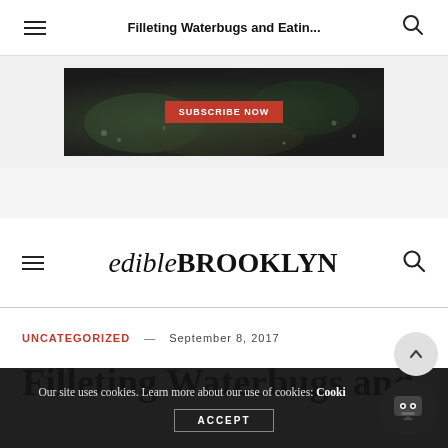Filleting Waterbugs and Eatin...
[Figure (photo): Dark food photography banner ad with seafood/oysters on dark background and a red 'SUBSCRIBE NOW' button in center]
edible BROOKLYN
UNCATEGORIZED — SEPTEMBER 8, 2017
Filleting Waterbugs and
Our site uses cookies. Learn more about our use of cookies: Cookie  ACCEPT